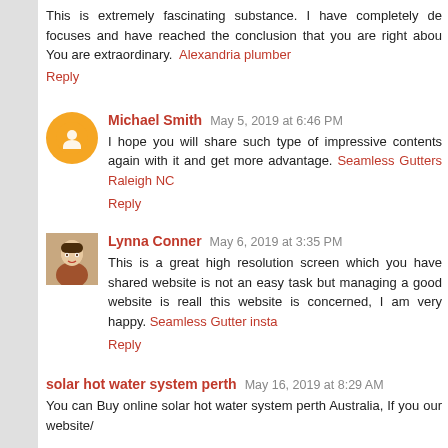This is extremely fascinating substance. I have completely de... focuses and have reached the conclusion that you are right abou... You are extraordinary. Alexandria plumber
Reply
Michael Smith  May 5, 2019 at 6:46 PM
I hope you will share such type of impressive contents again with it and get more advantage. Seamless Gutters Raleigh NC
Reply
Lynna Conner  May 6, 2019 at 3:35 PM
This is a great high resolution screen which you have shared website is not an easy task but managing a good website is reall... this website is concerned, I am very happy. Seamless Gutter insta...
Reply
solar hot water system perth  May 16, 2019 at 8:29 AM
You can Buy online solar hot water system perth Australia, If you our website/